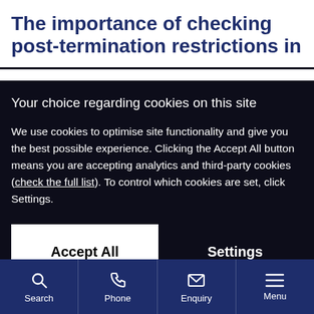The importance of checking post-termination restrictions in
Your choice regarding cookies on this site
We use cookies to optimise site functionality and give you the best possible experience. Clicking the Accept All button means you are accepting analytics and third-party cookies (check the full list). To control which cookies are set, click Settings.
Accept All
Settings
Search | Phone | Enquiry | Menu